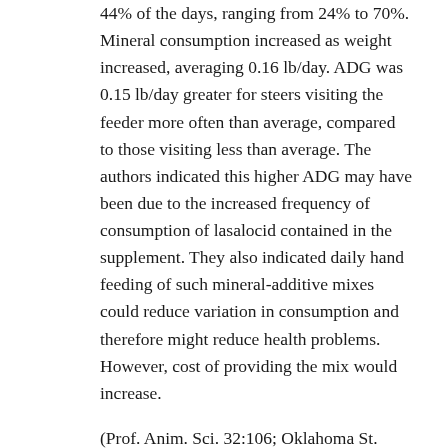44% of the days, ranging from 24% to 70%. Mineral consumption increased as weight increased, averaging 0.16 lb/day. ADG was 0.15 lb/day greater for steers visiting the feeder more often than average, compared to those visiting less than average. The authors indicated this higher ADG may have been due to the increased frequency of consumption of lasalocid contained in the supplement. They also indicated daily hand feeding of such mineral-additive mixes could reduce variation in consumption and therefore might reduce health problems. However, cost of providing the mix would increase.
(Prof. Anim. Sci. 32:106; Oklahoma St. Univ.)
IMPACT OF DAIRY CATTLE ON BEEF PRODUCTION
In 2016, dairy cattle produced 23% of total beef supply from slaughter of finished cattle and culled cows, up from 18% in 2002. Of the amount of beef